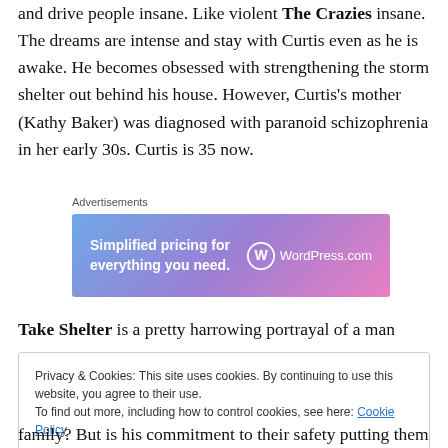and drive people insane. Like violent The Crazies insane. The dreams are intense and stay with Curtis even as he is awake. He becomes obsessed with strengthening the storm shelter out behind his house. However, Curtis's mother (Kathy Baker) was diagnosed with paranoid schizophrenia in her early 30s. Curtis is 35 now.
[Figure (screenshot): WordPress.com advertisement banner with gradient blue-purple-pink background. Text reads 'Simplified pricing for everything you need.' with WordPress.com logo on the right. Labeled 'Advertisements' above.]
Take Shelter is a pretty harrowing portrayal of a man
Privacy & Cookies: This site uses cookies. By continuing to use this website, you agree to their use. To find out more, including how to control cookies, see here: Cookie Policy Close and accept
family? But is his commitment to their safety putting them